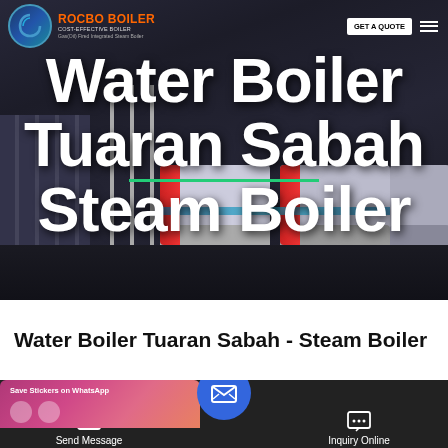[Figure (screenshot): Hero banner image of industrial steam boilers (Rocbo Boiler brand) with navigation bar showing logo, product name, GET A QUOTE button, and hamburger menu. Large white bold text overlay reads 'Water Boiler Tuaran Sabah Steam Boiler' on a dark industrial background.]
Water Boiler Tuaran Sabah - Steam Boiler
[Figure (screenshot): Bottom navigation bar on dark background with 'Save Stickers on WhatsApp' popup (pink/purple gradient), Send Message button on left with document icon, centered blue circular email/message button, and Inquiry Online button on right with chat icon.]